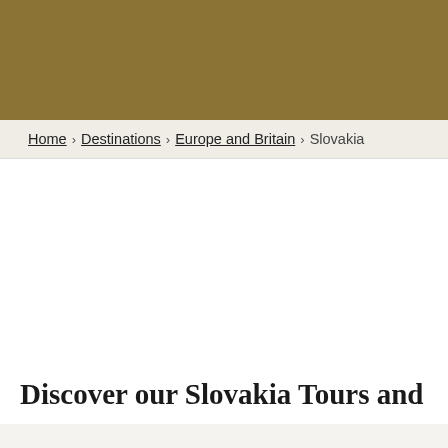[Figure (other): Olive/tan colored header banner image strip]
Home > Destinations > Europe and Britain > Slovakia
Discover our Slovakia Tours and